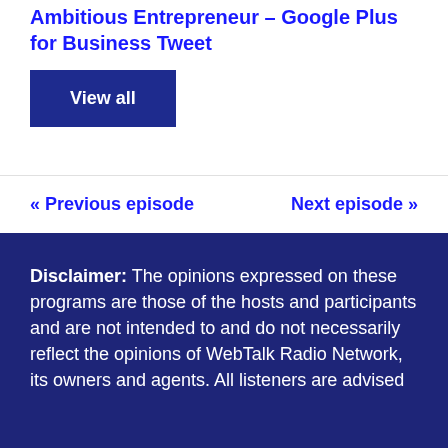Ambitious Entrepreneur – Google Plus for Business Tweet
View all
« Previous episode
Next episode »
Disclaimer: The opinions expressed on these programs are those of the hosts and participants and are not intended to and do not necessarily reflect the opinions of WebTalk Radio Network, its owners and agents. All listeners are advised